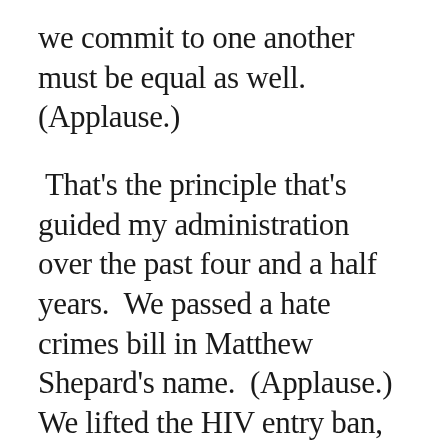we commit to one another must be equal as well.  (Applause.)
That's the principle that's guided my administration over the past four and a half years.  We passed a hate crimes bill in Matthew Shepard's name.  (Applause.)  We lifted the HIV entry ban, released the first national HIV/AIDS strategy.  We strengthened the Violence Against Women Act to protect LGBT victims.  (Applause.)